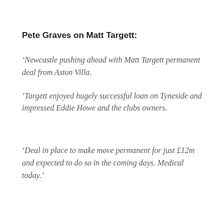Pete Graves on Matt Targett:
‘Newcastle pushing ahead with Matt Targett permanent deal from Aston Villa.
‘Targett enjoyed hugely successful loan on Tyneside and impressed Eddie Howe and the clubs owners.
‘Deal in place to make move permanent for just £12m and expected to do so in the coming days. Medical today.’